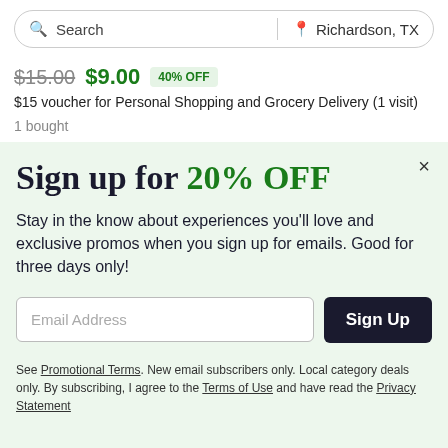[Figure (screenshot): Search bar with text 'Search' on left and location 'Richardson, TX' on right, separated by a vertical divider]
$15.00 $9.00 40% OFF
$15 voucher for Personal Shopping and Grocery Delivery (1 visit)
1 bought
Sign up for 20% OFF
Stay in the know about experiences you'll love and exclusive promos when you sign up for emails. Good for three days only!
Email Address  Sign Up
See Promotional Terms. New email subscribers only. Local category deals only. By subscribing, I agree to the Terms of Use and have read the Privacy Statement